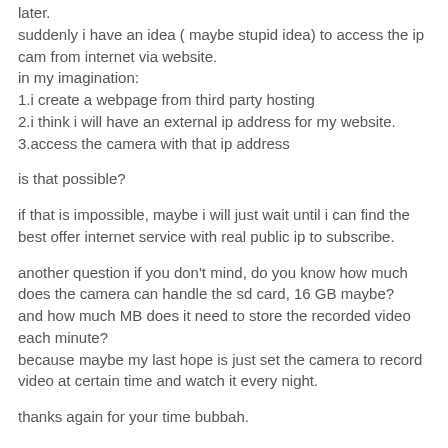later.
suddenly i have an idea ( maybe stupid idea) to access the ip cam from internet via website.
in my imagination:
1.i create a webpage from third party hosting
2.i think i will have an external ip address for my website.
3.access the camera with that ip address
is that possible?
if that is impossible, maybe i will just wait until i can find the best offer internet service with real public ip to subscribe.
another question if you don't mind, do you know how much does the camera can handle the sd card, 16 GB maybe?
and how much MB does it need to store the recorded video each minute?
because maybe my last hope is just set the camera to record video at certain time and watch it every night.
thanks again for your time bubbah.
Reply